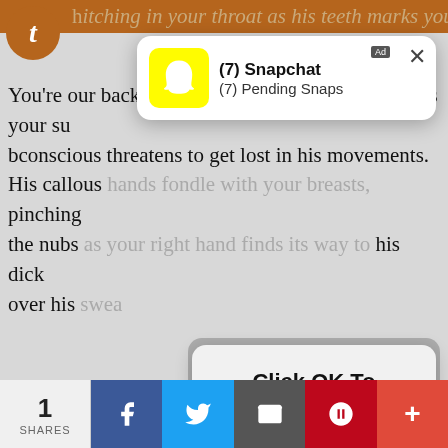h hitching in your throat as his teeth marks your nec
[Figure (screenshot): Snapchat notification popup showing '(7) Snapchat' and '(7) Pending Snaps' with yellow ghost logo and X close button, marked as Ad]
You're our back pressed to his chest, vision hazy as your subconscious threatens to get lost in his movements. His callous hands fondle with your breasts, pinching the nubs as your right hand finds its way to his dick over his swea
[Figure (screenshot): Modal dialog overlay with grey background showing 'Click OK To Continue' text and an 'OK' button]
“Fuck, Y/N,” he breathes, bringing his mouth up to kiss the shell of your ear. “You’re always so good for me, huh?”
The praise shoots down to your cunt, his low chuckle sending shivers down your spine. It’s always so easy for Suna to do this; to have control over your bod
1 SHARES | Facebook | Twitter | Email | Pinterest | +